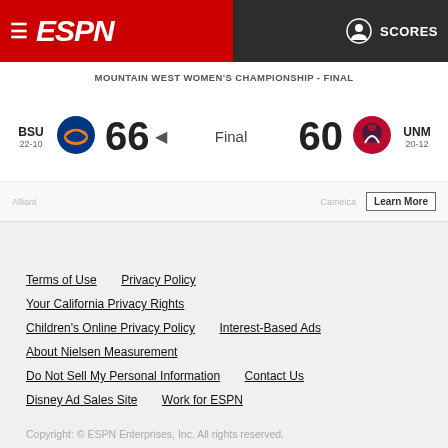ESPN - SCORES
MOUNTAIN WEST WOMEN'S CHAMPIONSHIP - FINAL
BSU 22-10  66  Final  60  UNM 20-12
Learn More
Terms of Use   Privacy Policy
Your California Privacy Rights
Children's Online Privacy Policy   Interest-Based Ads
About Nielsen Measurement
Do Not Sell My Personal Information   Contact Us
Disney Ad Sales Site   Work for ESPN
Copyright: © ESPN Enterprises, Inc. All rights reserved.